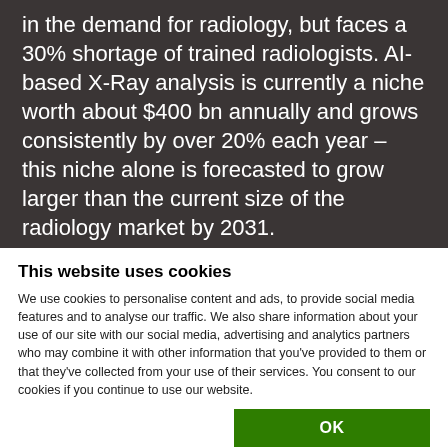in the demand for radiology, but faces a 30% shortage of trained radiologists. AI-based X-Ray analysis is currently a niche worth about $400 bn annually and grows consistently by over 20% each year – this niche alone is forecasted to grow larger than the current size of the radiology market by 2031.
This website uses cookies
We use cookies to personalise content and ads, to provide social media features and to analyse our traffic. We also share information about your use of our site with our social media, advertising and analytics partners who may combine it with other information that you've provided to them or that they've collected from your use of their services. You consent to our cookies if you continue to use our website.
OK
Necessary  Preferences  Statistics  Marketing  Show details